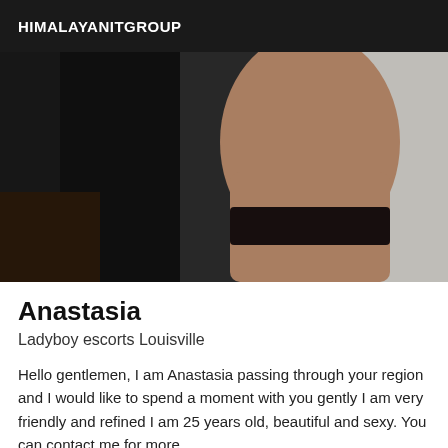HIMALAYANITGROUP
[Figure (photo): Close-up photo of a person's arm and torso, wearing dark clothing with a dark wristband/bracelet, against a white background.]
Anastasia
Ladyboy escorts Louisville
Hello gentlemen, I am Anastasia passing through your region and I would like to spend a moment with you gently I am very friendly and refined I am 25 years old, beautiful and sexy. You can contact me for more